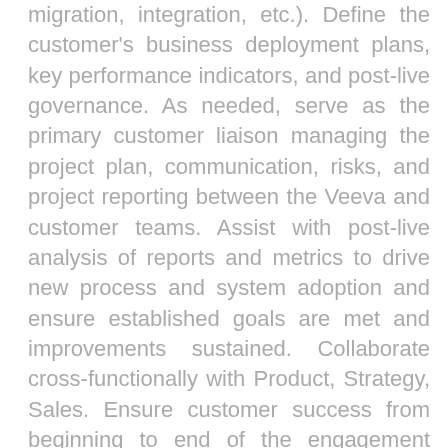migration, integration, etc.). Define the customer's business deployment plans, key performance indicators, and post-live governance. As needed, serve as the primary customer liaison managing the project plan, communication, risks, and project reporting between the Veeva and customer teams. Assist with post-live analysis of reports and metrics to drive new process and system adoption and ensure established goals are met and improvements sustained. Collaborate cross-functionally with Product, Strategy, Sales. Ensure customer success from beginning to end of the engagement lifecycle. Requirements 4+ years experience in clinical operations, site monitoring, study startup, TMF operations, and/or trial management. Proven track record contributing to process transformation and system implementations either as a consultant, business, or IT representative for at least one of the following: eTMF, CTMS, Study Startup, Payments, or similar systems for managing clinical trials. Ability to build cross-functional